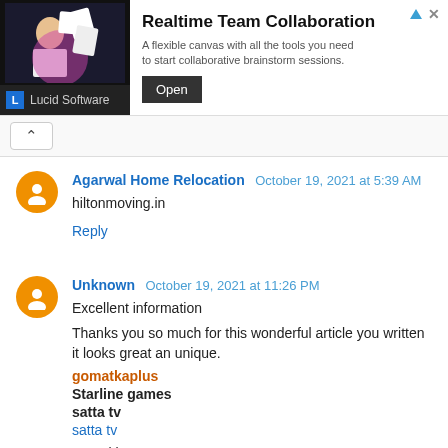[Figure (illustration): Advertisement banner for Lucid Software's Realtime Team Collaboration tool. Shows a dark image with a person on the left, the product title 'Realtime Team Collaboration', description text, an 'Open' button, and Lucid Software logo/name.]
^
Agarwal Home Relocation  October 19, 2021 at 5:39 AM
hiltonmoving.in
Reply
Unknown  October 19, 2021 at 11:26 PM
Excellent information
Thanks you so much for this wonderful article you written it looks great an unique.
gomatkaplus
Starline games
satta tv
satta tv
Satta king
Sattamatka